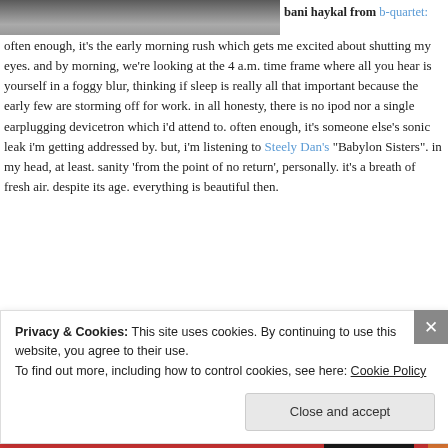[Figure (photo): Partial photo of people in a public space, cropped at top]
bani haykal from b-quartet: often enough, it's the early morning rush which gets me excited about shutting my eyes. and by morning, we're looking at the 4 a.m. time frame where all you hear is yourself in a foggy blur, thinking if sleep is really all that important because the early few are storming off for work. in all honesty, there is no ipod nor a single earplugging devicetron which i'd attend to. often enough, it's someone else's sonic leak i'm getting addressed by. but, i'm listening to Steely Dan's "Babylon Sisters". in my head, at least. sanity 'from the point of no return', personally. it's a breath of fresh air. despite its age. everything is beautiful then.
mp3: steely dan - babylon sisters
[Figure (photo): Strip of thumbnail images at bottom]
Privacy & Cookies: This site uses cookies. By continuing to use this website, you agree to their use. To find out more, including how to control cookies, see here: Cookie Policy
Close and accept